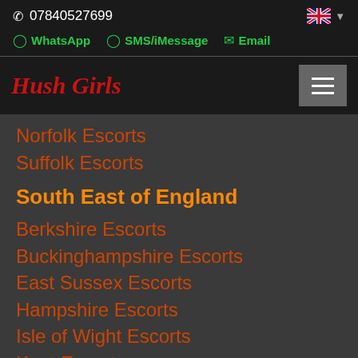07840527699
WhatsApp  SMS/iMessage  Email
Hush Girls
Norfolk Escorts
Suffolk Escorts
South East of England
Berkshire Escorts
Buckinghampshire Escorts
East Sussex Escorts
Hampshire Escorts
Isle of Wight Escorts
Kent Escorts
Oxfordshire Escorts